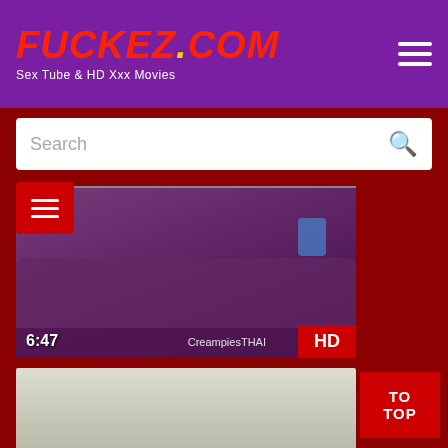FUCKEZ.COM - Sex Tube & HD Xxx Movies
Search
[Figure (screenshot): Video thumbnail 1: duration 6:47, watermark CreampiesTHAI, HD badge]
[Figure (screenshot): Video thumbnail 2: duration 12:59, watermark ASIAN STREET MEAT.COM, HD badge]
[Figure (screenshot): Video thumbnail 3: partial view showing face]
TO TOP